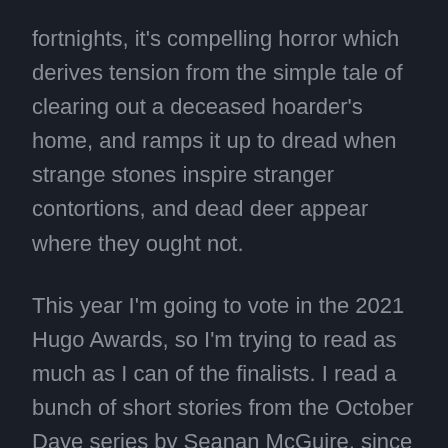fortnights, it's compelling horror which derives tension from the simple tale of clearing out a deceased hoarder's home, and ramps it up to dread when strange stones inspire stranger contortions, and dead deer appear where they ought not.
This year I'm going to vote in the 2021 Hugo Awards, so I'm trying to read as much as I can of the finalists. I read a bunch of short stories from the October Daye series by Seanan McGuire, since I've already read the novels. I'm reading the numbered short stories first, let me just say there's a lot of Tybalt and the stories are excellent. They didn't get their own reviews